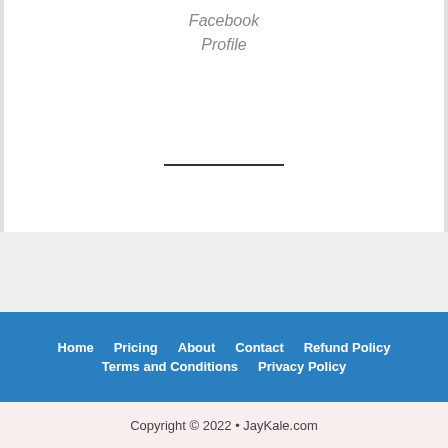Facebook
Profile
Home  Pricing  About  Contact  Refund Policy  Terms and Conditions  Privacy Policy
Copyright © 2022 • JayKale.com